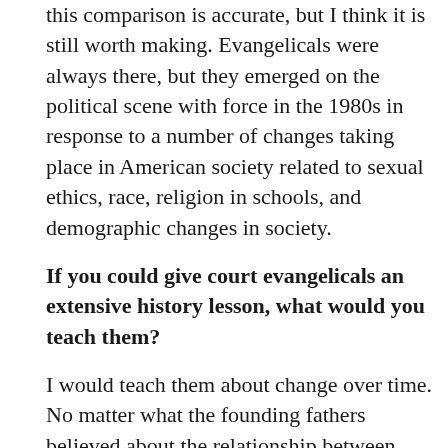this comparison is accurate, but I think it is still worth making. Evangelicals were always there, but they emerged on the political scene with force in the 1980s in response to a number of changes taking place in American society related to sexual ethics, race, religion in schools, and demographic changes in society.
If you could give court evangelicals an extensive history lesson, what would you teach them?
I would teach them about change over time. No matter what the founding fathers believed about the relationship between Christianity and the American founding, we no longer live in a